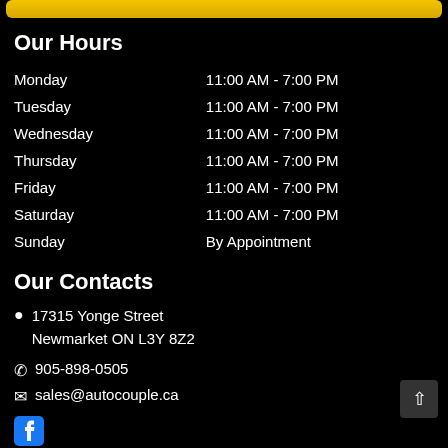[Figure (other): Yellow banner/button at top of page]
Our Hours
| Day | Hours |
| --- | --- |
| Monday | 11:00 AM - 7:00 PM |
| Tuesday | 11:00 AM - 7:00 PM |
| Wednesday | 11:00 AM - 7:00 PM |
| Thursday | 11:00 AM - 7:00 PM |
| Friday | 11:00 AM - 7:00 PM |
| Saturday | 11:00 AM - 7:00 PM |
| Sunday | By Appointment |
Our Contacts
17315 Yonge Street Newmarket ON L3Y 8Z2
905-898-0505
sales@autocouple.ca
[Figure (logo): Facebook icon at bottom left]